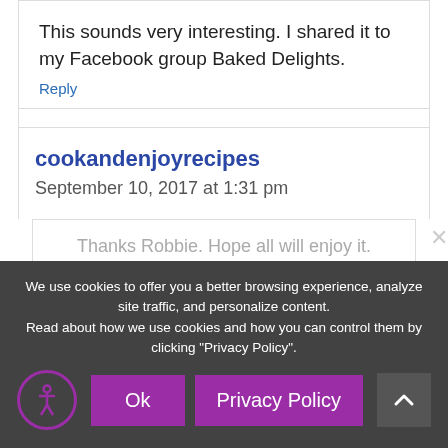This sounds very interesting. I shared it to my Facebook group Baked Delights.
Reply
cookandenjoyrecipes
September 10, 2017 at 1:31 pm
Thanks Robbie. Hope all will enjoy it.
We use cookies to offer you a better browsing experience, analyze site traffic, and personalize content. Read about how we use cookies and how you can control them by clicking "Privacy Policy".
Ok
Privacy Policy